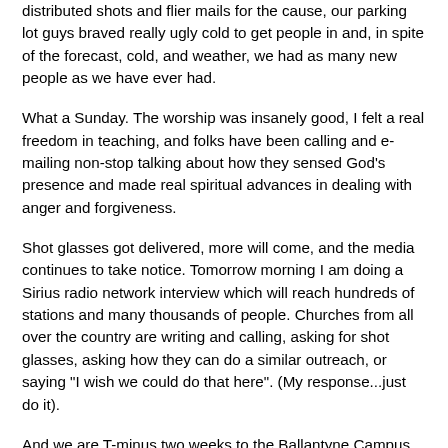...distributed shots and flier mails for the cause, our parking lot guys braved really ugly cold to get people in and, in spite of the forecast, cold, and weather, we had as many new people as we have ever had.
What a Sunday. The worship was insanely good, I felt a real freedom in teaching, and folks have been calling and e-mailing non-stop talking about how they sensed God's presence and made real spiritual advances in dealing with anger and forgiveness.
Shot glasses got delivered, more will come, and the media continues to take notice. Tomorrow morning I am doing a Sirius radio network interview which will reach hundreds of stations and many thousands of people. Churches from all over the country are writing and calling, asking for shot glasses, asking how they can do a similar outreach, or saying "I wish we could do that here". (My response...just do it).
And we are T-minus two weeks to the Ballantyne Campus launch and our return to three services in Matthews.